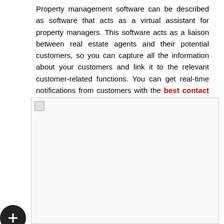Property management software can be described as software that acts as a virtual assistant for property managers. This software acts as a liaison between real estate agents and their potential customers, so you can capture all the information about your customers and link it to the relevant customer-related functions. You can get real-time notifications from customers with the best contact management software.
[Figure (photo): Image placeholder (broken image icon) representing a photo related to property management or contact management software]